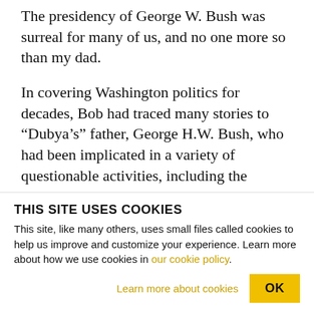The presidency of George W. Bush was surreal for many of us, and no one more so than my dad.
In covering Washington politics for decades, Bob had traced many stories to “Dubya’s” father, George H.W. Bush, who had been implicated in a variety of questionable activities, including the October Surprise Mystery and Iran-Contra. He had also launched a war against Iraq in 1991 that seemed to be motivated, at least in part, to help kick “the Vietnam Syndrome,” i.e. the reluctance that the American
THIS SITE USES COOKIES
This site, like many others, uses small files called cookies to help us improve and customize your experience. Learn more about how we use cookies in our cookie policy.
Learn more about cookies
OK